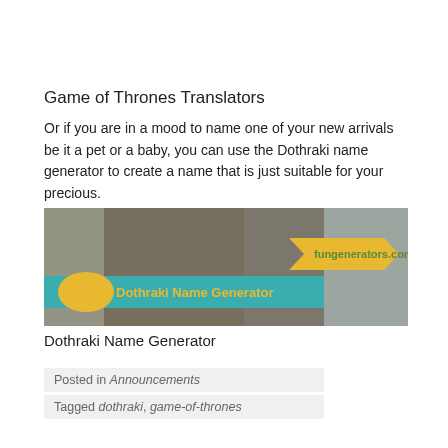Game of Thrones Translators
Or if you are in a mood to name one of your new arrivals be it a pet or a baby, you can use the Dothraki name generator to create a name that is just suitable for your precious.
[Figure (screenshot): Screenshot of Dothraki Name Generator tool page with a warrior figure (Khal Drogo from Game of Thrones) in the background, a teal banner reading 'Dothraki Name Generator', a gold oval and a gold arrow-shaped label reading 'fungenerators.com']
Dothraki Name Generator
Posted in Announcements
Tagged dothraki, game-of-thrones